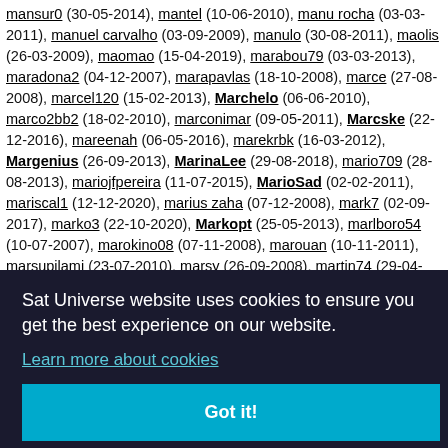mansur0 (30-05-2014), mantel (10-06-2010), manu rocha (03-03-2011), manuel carvalho (03-09-2009), manulo (30-08-2011), maolis (26-03-2009), maomao (15-04-2019), marabou79 (03-03-2013), maradona2 (04-12-2007), marapavlas (18-10-2008), marce (27-08-2008), marcel120 (15-02-2013), Marchelo (06-06-2010), marco2bb2 (18-02-2010), marconimar (09-05-2011), Marcske (22-12-2016), mareenah (06-05-2016), marekrbk (16-03-2012), Margenius (26-09-2013), MarinaLee (29-08-2018), mario709 (28-08-2013), mariojfpereira (11-07-2015), MarioSad (02-02-2011), mariscal1 (12-12-2020), marius zaha (07-12-2008), mark7 (02-09-2017), marko3 (22-10-2020), Markopt (25-05-2013), marlboro54 (10-07-2007), marokino08 (07-11-2008), marouan (10-11-2011), marsupilami (23-07-2010), marsy (26-09-2008), martin74 (29-04-2009), martire (02-11-2012), mar_2_5 (28-11-2008), mask (29-09-2007),
[Figure (screenshot): Cookie consent banner overlay on website. Dark background with text: 'Sat Universe website uses cookies to ensure you get the best experience on our website.' with a 'Learn more about cookies' link and a 'Got it!' button. Behind the banner, partially visible text continues the list of usernames.]
mcnire (28-09-2011), mcowen10 (02-11-2011), MC_MDU_41 (15-12-2011), mdaisy (04-01-2016),